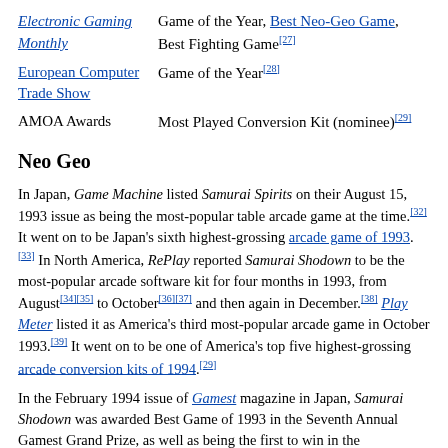| Electronic Gaming Monthly | Game of the Year, Best Neo-Geo Game, Best Fighting Game[27] |
| European Computer Trade Show | Game of the Year[28] |
| AMOA Awards | Most Played Conversion Kit (nominee)[29] |
Neo Geo
In Japan, Game Machine listed Samurai Spirits on their August 15, 1993 issue as being the most-popular table arcade game at the time.[32] It went on to be Japan's sixth highest-grossing arcade game of 1993.[33] In North America, RePlay reported Samurai Shodown to be the most-popular arcade software kit for four months in 1993, from August[34][35] to October[36][37] and then again in December.[38] Play Meter listed it as America's third most-popular arcade game in October 1993.[39] It went on to be one of America's top five highest-grossing arcade conversion kits of 1994.[29]
In the February 1994 issue of Gamest magazine in Japan, Samurai Shodown was awarded Best Game of 1993 in the Seventh Annual Gamest Grand Prize, as well as being the first to win in the